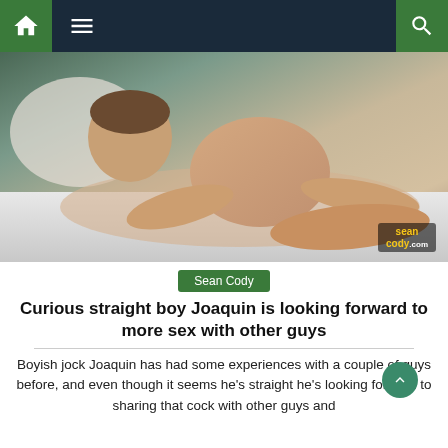Navigation bar with home, menu, and search icons
[Figure (photo): A young man posing on a bed, watermarked with 'seancody.com' in the bottom right corner]
Sean Cody
Curious straight boy Joaquin is looking forward to more sex with other guys
Boyish jock Joaquin has had some experiences with a couple of guys before, and even though it seems he's straight he's looking forward to sharing that cock with other guys and